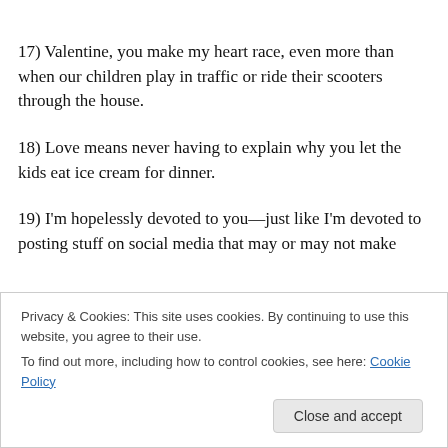17)  Valentine, you make my heart race, even more than when our children play in traffic or ride their scooters through the house.
18)  Love means never having to explain why you let the kids eat ice cream for dinner.
19)  I'm hopelessly devoted to you—just like I'm devoted to posting stuff on social media that may or may not make
Privacy & Cookies: This site uses cookies. By continuing to use this website, you agree to their use. To find out more, including how to control cookies, see here: Cookie Policy
Close and accept
Planet Mom. It's where I live, with my special valentine.